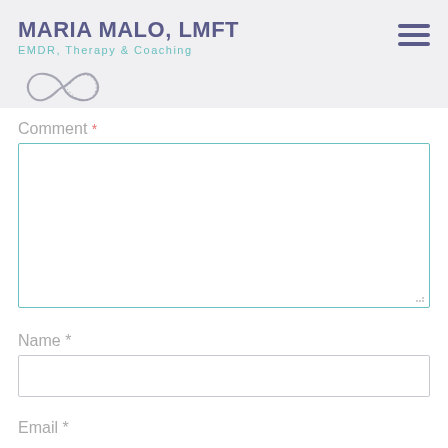MARIA MALO, LMFT — EMDR, Therapy & Coaching
[Figure (logo): Infinity symbol logo in grey/purple outline style]
Comment *
Name *
Email *